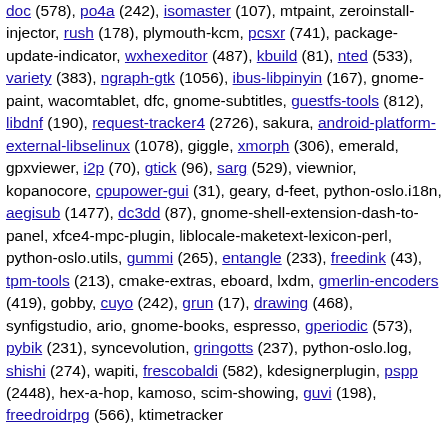doc (578), po4a (242), isomaster (107), mtpaint, zeroinstall-injector, rush (178), plymouth-kcm, pcsxr (741), package-update-indicator, wxhexeditor (487), kbuild (81), nted (533), variety (383), ngraph-gtk (1056), ibus-libpinyin (167), gnome-paint, wacomtablet, dfc, gnome-subtitles, guestfs-tools (812), libdnf (190), request-tracker4 (2726), sakura, android-platform-external-libselinux (1078), giggle, xmorph (306), emerald, gpxviewer, i2p (70), gtick (96), sarg (529), viewnior, kopanocore, cpupower-gui (31), geary, d-feet, python-oslo.i18n, aegisub (1477), dc3dd (87), gnome-shell-extension-dash-to-panel, xfce4-mpc-plugin, liblocale-maketext-lexicon-perl, python-oslo.utils, gummi (265), entangle (233), freedink (43), tpm-tools (213), cmake-extras, eboard, lxdm, gmerlin-encoders (419), gobby, cuyo (242), grun (17), drawing (468), synfigstudio, ario, gnome-books, espresso, gperiodic (573), pybik (231), syncevolution, gringotts (237), python-oslo.log, shishi (274), wapiti, frescobaldi (582), kdesignerplugin, pspp (2448), hex-a-hop, kamoso, scim-showing, guvi (198), freedroidrpg (566), ktimetracker